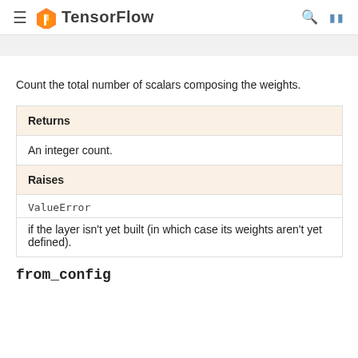TensorFlow
Count the total number of scalars composing the weights.
| Returns |
| An integer count. |
| Raises |
| ValueError |
| if the layer isn't yet built (in which case its weights aren't yet defined). |
from_config